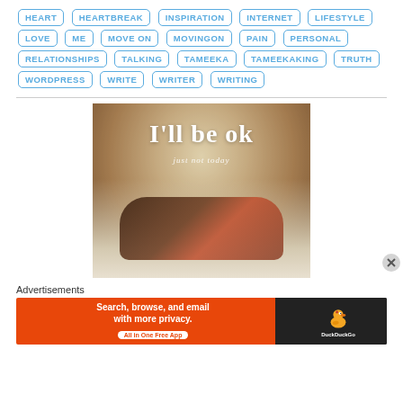HEART, HEARTBREAK, INSPIRATION, INTERNET, LIFESTYLE, LOVE, ME, MOVE ON, MOVINGON, PAIN, PERSONAL, RELATIONSHIPS, TALKING, TAMEEKA, TAMEEKAKING, TRUTH, WORDPRESS, WRITE, WRITER, WRITING
[Figure (photo): Photo of a person lying on a bed with white sheets, overlaid with text reading "I'll be ok" and "just not today" in white font]
Advertisements
[Figure (infographic): DuckDuckGo advertisement banner with orange background. Text: 'Search, browse, and email with more privacy. All in One Free App' with DuckDuckGo duck logo on dark right panel]